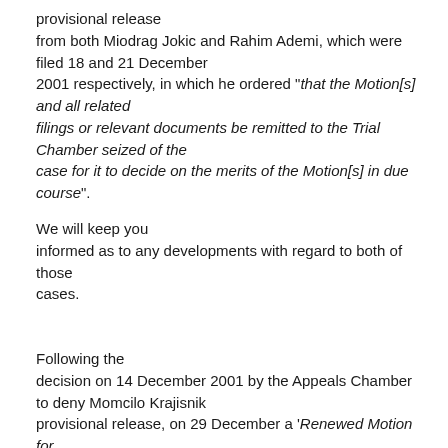provisional release from both Miodrag Jokic and Rahim Ademi, which were filed 18 and 21 December 2001 respectively, in which he ordered "that the Motion[s] and all related filings or relevant documents be remitted to the Trial Chamber seized of the case for it to decide on the merits of the Motion[s] in due course".
We will keep you informed as to any developments with regard to both of those cases.
Following the decision on 14 December 2001 by the Appeals Chamber to deny Momcilo Krajisnik provisional release, on 29 December a 'Renewed Motion for Provisional Release'